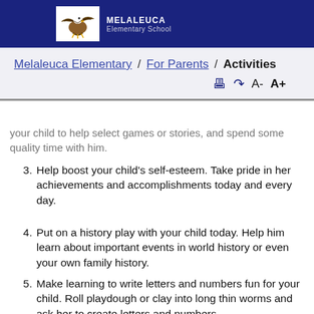MELALEUCA Elementary School
Melaleuca Elementary / For Parents / Activities
...your child to help select games or stories, and spend some quality time with him.
3. Help boost your child’s self-esteem. Take pride in her achievements and accomplishments today and every day.
4. Put on a history play with your child today. Help him learn about important events in world history or even your own family history.
5. Make learning to write letters and numbers fun for your child. Roll playdough or clay into long thin worms and ask her to create letters and numbers.
6. Ask your child to help make lunch today. He can